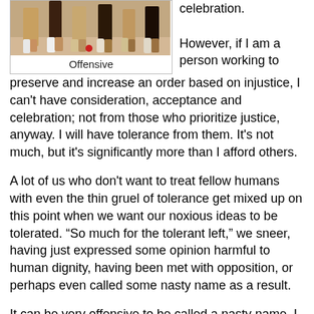[Figure (photo): Photo showing people's lower bodies and feet, appears to be a group scene]
Offensive
celebration.

However, if I am a person working to preserve and increase an order based on injustice, I can't have consideration, acceptance and celebration; not from those who prioritize justice, anyway. I will have tolerance from them. It's not much, but it's significantly more than I afford others.
A lot of us who don't want to treat fellow humans with even the thin gruel of tolerance get mixed up on this point when we want our noxious ideas to be tolerated. “So much for the tolerant left,” we sneer, having just expressed some opinion harmful to human dignity, having been met with opposition, or perhaps even called some nasty name as a result.
It can be very offensive to be called a nasty name, I know. So, in the interests of tolerance and justice, to any reading this who have been called nasty names simply because of deeply held beliefs that other people should lose access to